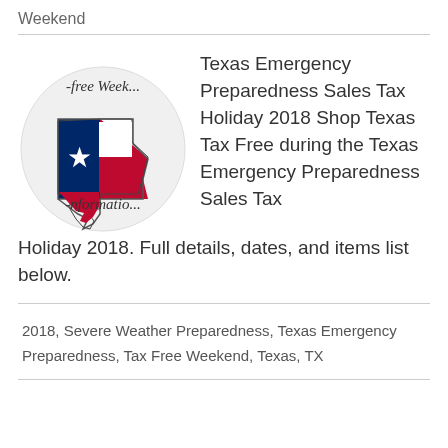Weekend
[Figure (illustration): Circular logo showing the state of Texas in red, white, and blue (Texas flag colors) with a white star, overlaid with cursive text reading '-free Week...' at the top and '-nformatio...' at the bottom]
Texas Emergency Preparedness Sales Tax Holiday 2018 Shop Texas Tax Free during the Texas Emergency Preparedness Sales Tax Holiday 2018. Full details, dates, and items list below.
2018, Severe Weather Preparedness, Texas Emergency Preparedness, Tax Free Weekend, Texas, TX